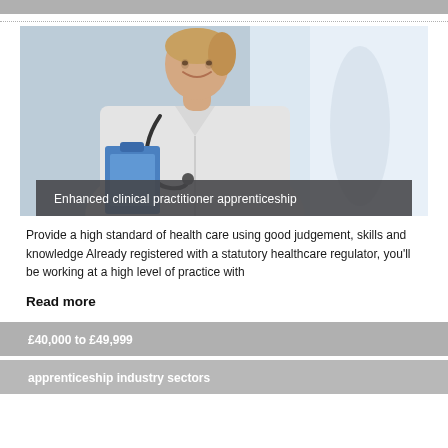[Figure (photo): A smiling female healthcare professional in a white lab coat with a stethoscope, holding a blue clipboard, in a bright clinical environment. Overlay text reads: Enhanced clinical practitioner apprenticeship]
Provide a high standard of health care using good judgement, skills and knowledge Already registered with a statutory healthcare regulator, you'll be working at a high level of practice with
Read more
£40,000 to £49,999
apprenticeship industry sectors